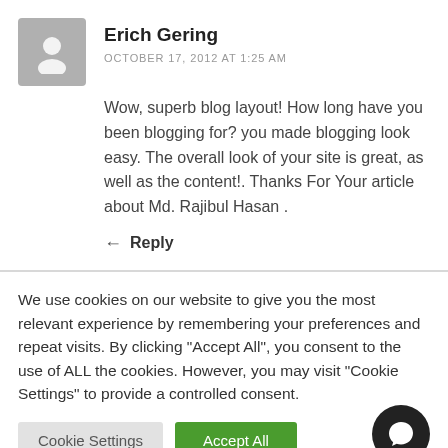Erich Gering
OCTOBER 17, 2012 AT 1:25 AM
Wow, superb blog layout! How long have you been blogging for? you made blogging look easy. The overall look of your site is great, as well as the content!. Thanks For Your article about Md. Rajibul Hasan .
Reply
We use cookies on our website to give you the most relevant experience by remembering your preferences and repeat visits. By clicking "Accept All", you consent to the use of ALL the cookies. However, you may visit "Cookie Settings" to provide a controlled consent.